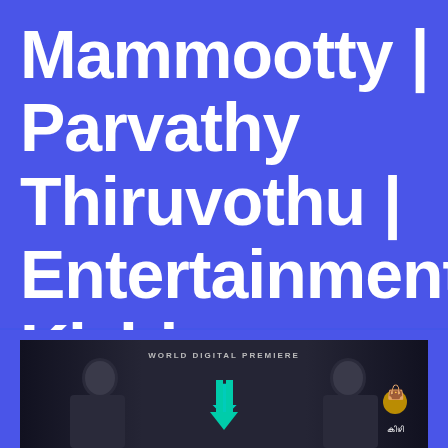Mammootty | Parvathy Thiruvothu | Entertainment Kizhi
[Figure (screenshot): Movie promotional banner showing 'WORLD DIGITAL PREMIERE' text, dark background with silhouettes of two people facing each other with a teal/cyan arrow logo in the center, and a small bag icon with Malayalam text in the bottom right corner]